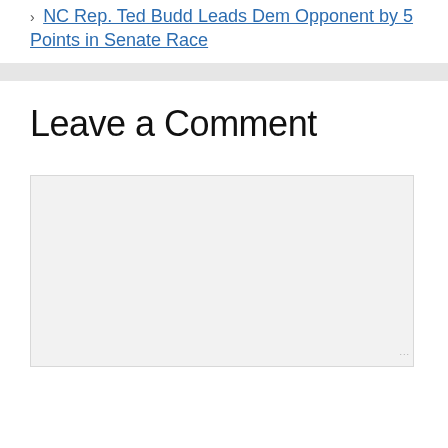NC Rep. Ted Budd Leads Dem Opponent by 5 Points in Senate Race
Leave a Comment